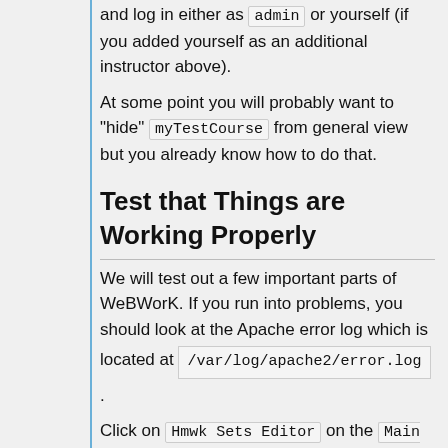and log in either as admin or yourself (if you added yourself as an additional instructor above).
At some point you will probably want to "hide" myTestCourse from general view but you already know how to do that.
Test that Things are Working Properly
We will test out a few important parts of WeBWorK. If you run into problems, you should look at the Apache error log which is located at /var/log/apache2/error.log.
Click on Hmwk Sets Editor on the Main Menu. Then select Import, select setDemo.def from the from drop down list and select